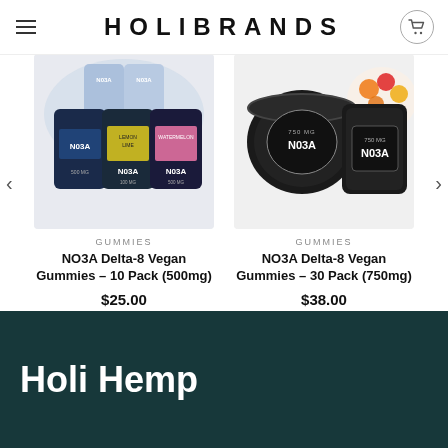HOLIBRANDS
[Figure (photo): NO3A branded gummy pouches in holographic packaging - Lemon Lime and Watermelon flavors, stacked]
GUMMIES
NO3A Delta-8 Vegan Gummies – 10 Pack (500mg)
$25.00
Select options
[Figure (photo): NO3A branded black jar with lid containing colorful gummies, 750mg]
GUMMIES
NO3A Delta-8 Vegan Gummies – 30 Pack (750mg)
$38.00
Add to cart
Holi Hemp